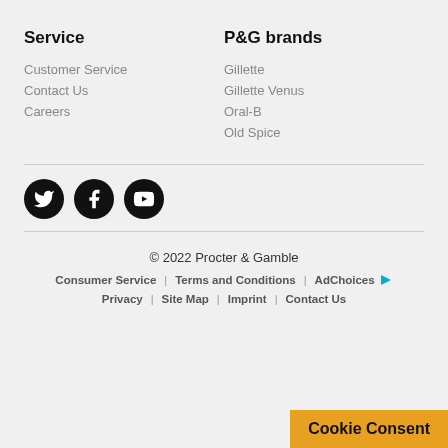Service
Customer Service
Contact Us
Careers
P&G brands
Gillette
Gillette Venus
Oral-B
Old Spice
[Figure (other): Social media icons: Twitter, Facebook, YouTube (black circles)]
© 2022 Procter & Gamble  Consumer Service  Terms and Conditions  AdChoices  Privacy  Site Map  Imprint  Contact Us
Cookie Consent